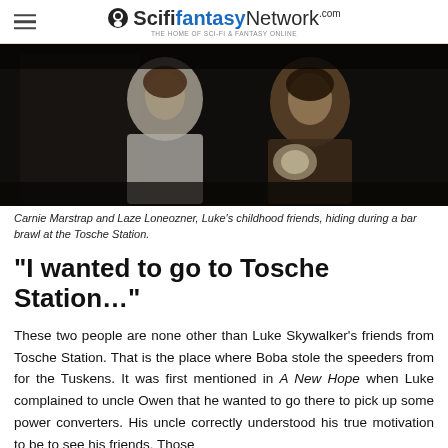ScifiFantasyNetwork.com — THE HOME OF SCI-FI & FANTASY ONLINE
[Figure (photo): Carnie Marstrap and Laze Loneozner, Luke's childhood friends, hiding during a bar brawl at the Tosche Station. Dark scene showing a woman and man in a dimly lit interior.]
Carnie Marstrap and Laze Loneozner, Luke's childhood friends, hiding during a bar brawl at the Tosche Station.
“I wanted to go to Tosche Station…”
These two people are none other than Luke Skywalker’s friends from Tosche Station. That is the place where Boba stole the speeders from for the Tuskens. It was first mentioned in A New Hope when Luke complained to uncle Owen that he wanted to go there to pick up some power converters. His uncle correctly understood his true motivation to be to see his friends. Those